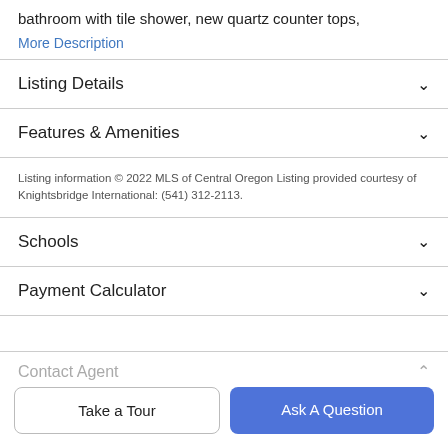bathroom with tile shower, new quartz counter tops,
More Description
Listing Details
Features & Amenities
Listing information © 2022 MLS of Central Oregon Listing provided courtesy of Knightsbridge International: (541) 312-2113.
Schools
Payment Calculator
Contact Agent
Take a Tour
Ask A Question